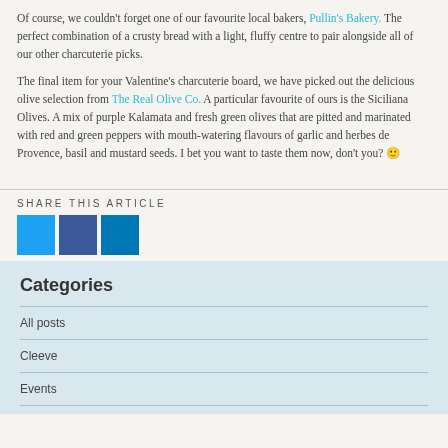Of course, we couldn't forget one of our favourite local bakers, Pullin's Bakery. The perfect combination of a crusty bread with a light, fluffy centre to pair alongside all of our other charcuterie picks.
The final item for your Valentine's charcuterie board, we have picked out the delicious olive selection from The Real Olive Co. A particular favourite of ours is the Siciliana Olives. A mix of purple Kalamata and fresh green olives that are pitted and marinated with red and green peppers with mouth-watering flavours of garlic and herbes de Provence, basil and mustard seeds. I bet you want to taste them now, don't you? 😊
SHARE THIS ARTICLE
[Figure (other): Three social share buttons: Twitter (light blue), Facebook (dark blue), LinkedIn (medium blue)]
Categories
All posts
Cleeve
Events